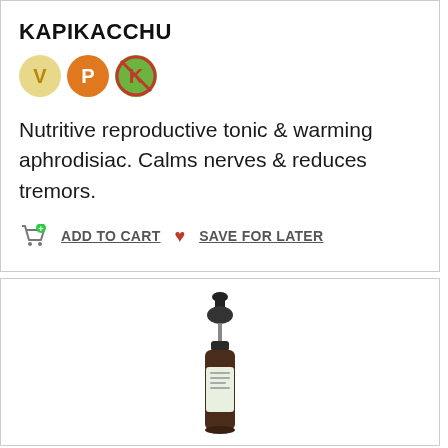KAPIKACCHU
[Figure (infographic): Three circular badge icons labeled V (yellow/gold background), P (orange background), K (green background with red slash/prohibition symbol overlay)]
Nutritive reproductive tonic & warming aphrodisiac. Calms nerves & reduces tremors.
ADD TO CART  SAVE FOR LATER
[Figure (photo): A dark amber glass dropper bottle with a green label, partially visible at the bottom of the page.]